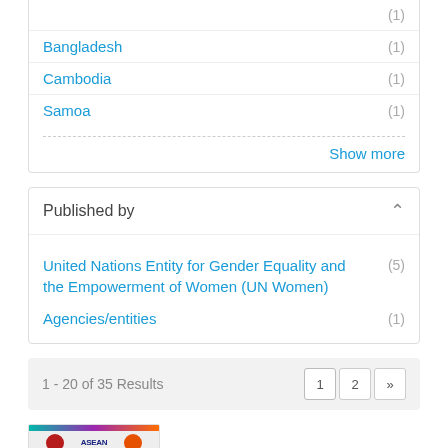Bangladesh (1)
Cambodia (1)
Samoa (1)
Show more
Published by
United Nations Entity for Gender Equality and the Empowerment of Women (UN Women) (5)
Agencies/entities (1)
1 - 20 of 35 Results
[Figure (other): Thumbnail cover image of a report with a colorful header bar, organizational logos, and a circular image of people]